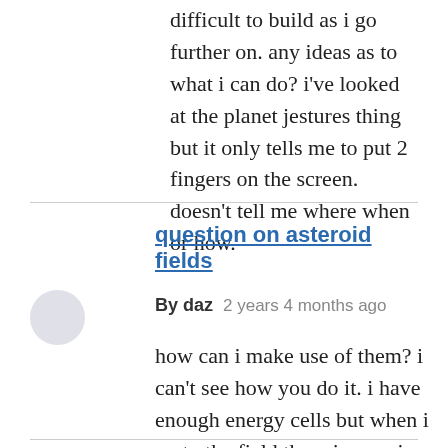difficult to build as i go further on. any ideas as to what i can do? i've looked at the planet jestures thing but it only tells me to put 2 fingers on the screen. doesn't tell me where when or how.
question on asteroid fields
By daz   2 years 4 months ago
how can i make use of them? i can't see how you do it. i have enough energy cells but when i go to the field there is no mine button or anything like that.